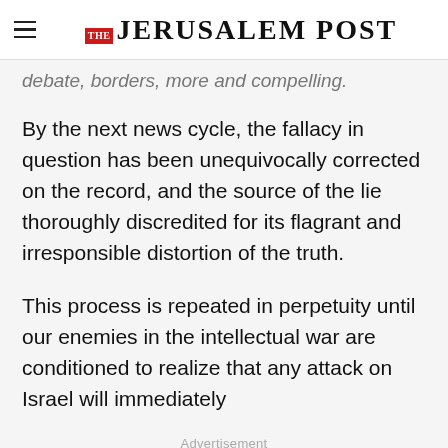THE JERUSALEM POST
debate, borders, more and compelling.
By the next news cycle, the fallacy in question has been unequivocally corrected on the record, and the source of the lie thoroughly discredited for its flagrant and irresponsible distortion of the truth.
This process is repeated in perpetuity until our enemies in the intellectual war are conditioned to realize that any attack on Israel will immediately
Advertisement